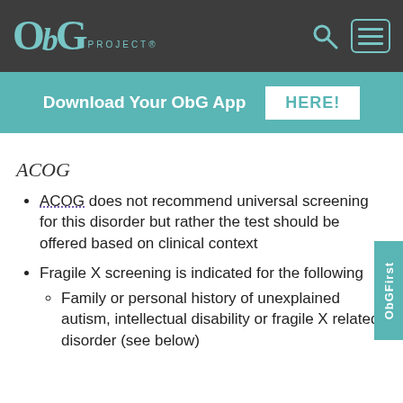ObG PROJECT®
Download Your ObG App HERE!
ACOG
ACOG does not recommend universal screening for this disorder but rather the test should be offered based on clinical context
Fragile X screening is indicated for the following
Family or personal history of unexplained autism, intellectual disability or fragile X related disorder (see below)